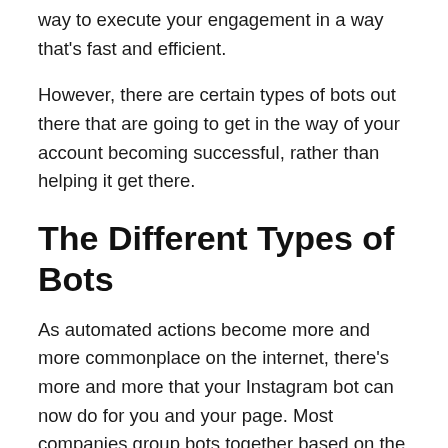way to execute your engagement in a way that's fast and efficient.
However, there are certain types of bots out there that are going to get in the way of your account becoming successful, rather than helping it get there.
The Different Types of Bots
As automated actions become more and more commonplace on the internet, there's more and more that your Instagram bot can now do for you and your page. Most companies group bots together based on the tasks that they can do for